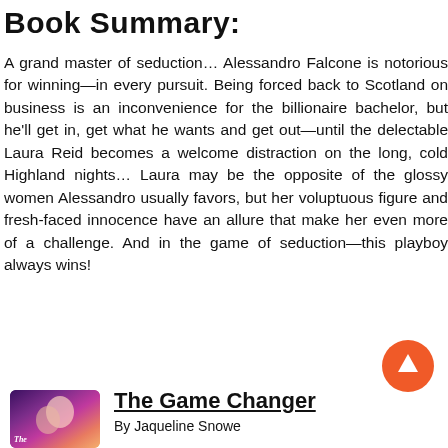Book Summary:
A grand master of seduction… Alessandro Falcone is notorious for winning—in every pursuit. Being forced back to Scotland on business is an inconvenience for the billionaire bachelor, but he'll get in, get what he wants and get out—until the delectable Laura Reid becomes a welcome distraction on the long, cold Highland nights… Laura may be the opposite of the glossy women Alessandro usually favors, but her voluptuous figure and fresh-faced innocence have an allure that make her even more of a challenge. And in the game of seduction—this playboy always wins!
[Figure (illustration): Scroll-to-top button: orange circle with white upward arrow]
[Figure (illustration): Book cover image for The Game Changer with purple/pink/orange gradient and romantic figures]
The Game Changer
By Jaqueline Snowe